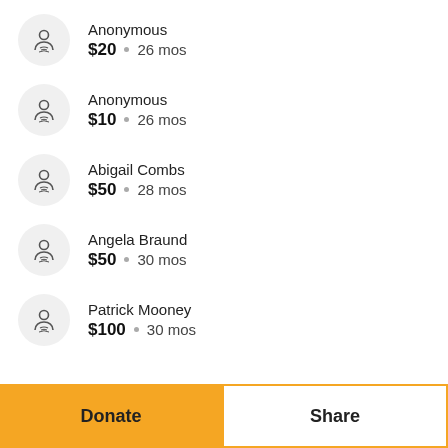Anonymous $20 · 26 mos
Anonymous $10 · 26 mos
Abigail Combs $50 · 28 mos
Angela Braund $50 · 30 mos
Patrick Mooney $100 · 30 mos